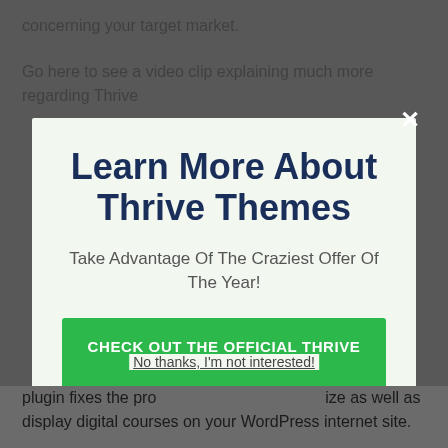concerning your target market.
Go here to see a video clip explaining much more regarding Thrive
Learn More About Thrive Themes
Take Advantage Of The Craziest Offer Of The Year!
CHECK OUT THE OFFICIAL THRIVE SITE HERE
No thanks, I'm not interested!
plugin fixes the pro... ize as well as display digital courses on your WordPress internet site.